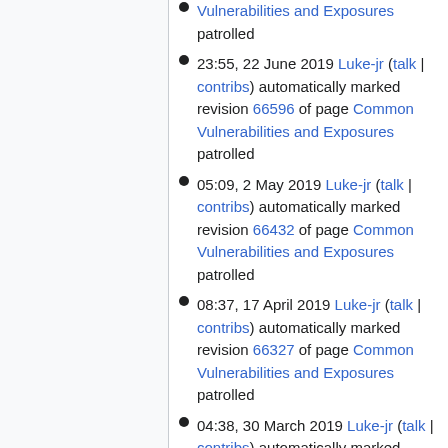Vulnerabilities and Exposures patrolled
23:55, 22 June 2019 Luke-jr (talk | contribs) automatically marked revision 66596 of page Common Vulnerabilities and Exposures patrolled
05:09, 2 May 2019 Luke-jr (talk | contribs) automatically marked revision 66432 of page Common Vulnerabilities and Exposures patrolled
08:37, 17 April 2019 Luke-jr (talk | contribs) automatically marked revision 66327 of page Common Vulnerabilities and Exposures patrolled
04:38, 30 March 2019 Luke-jr (talk | contribs) automatically marked revision 66309 of page Common